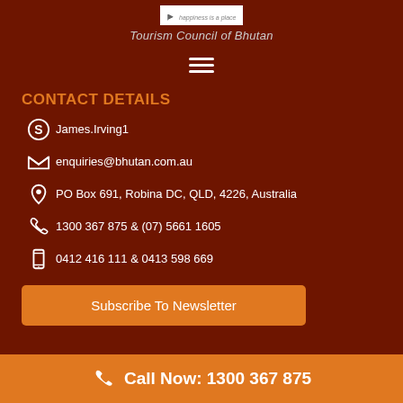[Figure (logo): Tourism Council of Bhutan logo with tagline 'happiness is a place']
Tourism Council of Bhutan
[Figure (other): Hamburger menu icon (three horizontal lines)]
CONTACT DETAILS
James.Irving1
enquiries@bhutan.com.au
PO Box 691, Robina DC, QLD, 4226, Australia
1300 367 875 & (07) 5661 1605
0412 416 111 & 0413 598 669
Subscribe To Newsletter
Call Now: 1300 367 875